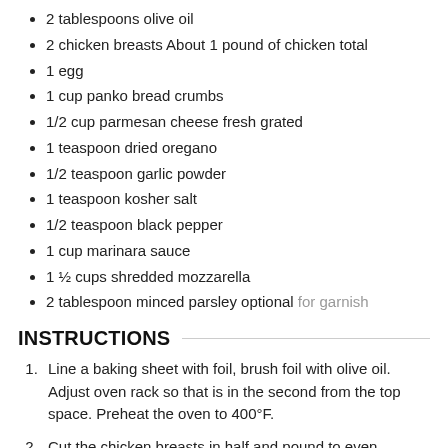2 tablespoons olive oil
2 chicken breasts About 1 pound of chicken total
1 egg
1 cup panko bread crumbs
1/2 cup parmesan cheese fresh grated
1 teaspoon dried oregano
1/2 teaspoon garlic powder
1 teaspoon kosher salt
1/2 teaspoon black pepper
1 cup marinara sauce
1 ½ cups shredded mozzarella
2 tablespoon minced parsley optional for garnish
INSTRUCTIONS
Line a baking sheet with foil, brush foil with olive oil. Adjust oven rack so that is in the second from the top space. Preheat the oven to 400°F.
Cut the chicken breasts in half and pound to even thickness: Cut through the middle of the chicken breast as if you are going to butterfly it (cutting it open like a book), but cut all the way through to make two equal sized pieces.
After cutting the chicken breasts in half, place them in a gallon